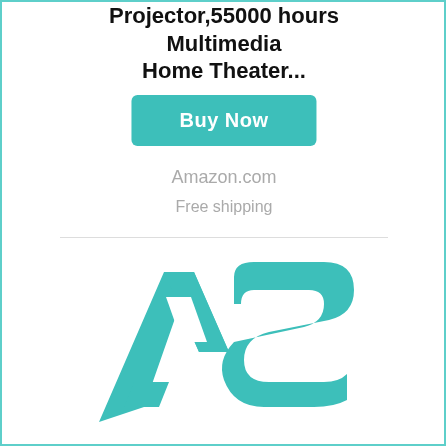Projector,55000 hours Multimedia Home Theater...
Buy Now
Amazon.com
Free shipping
[Figure (logo): AS logo in teal/turquoise color — stylized letters A and S combined as a modern monogram]